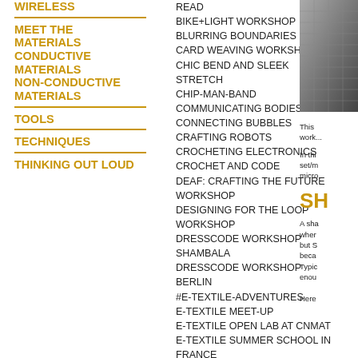WIRELESS
MEET THE MATERIALS
CONDUCTIVE MATERIALS
NON-CONDUCTIVE MATERIALS
TOOLS
TECHNIQUES
THINKING OUT LOUD
READ
BIKE+LIGHT WORKSHOP
BLURRING BOUNDARIES
CARD WEAVING WORKSHOP
CHIC BEND AND SLEEK STRETCH
CHIP-MAN-BAND
COMMUNICATING BODIES
CONNECTING BUBBLES
CRAFTING ROBOTS
CROCHETING ELECTRONICS
CROCHET AND CODE
DEAF: CRAFTING THE FUTURE WORKSHOP
DESIGNING FOR THE LOOP WORKSHOP
DRESSCODE WORKSHOP SHAMBALA
DRESSCODE WORKSHOP BERLIN
#E-TEXTILE-ADVENTURES
E-TEXTILE MEET-UP
E-TEXTILE OPEN LAB AT CNMAT
E-TEXTILE SUMMER SCHOOL IN FRANCE
E-TEXTILE TOOLING:
[Figure (photo): Close-up photo of woven or knitted textile material]
This work...
In this set/m micro...
SH
A sha wher but S beca Typic enou Here